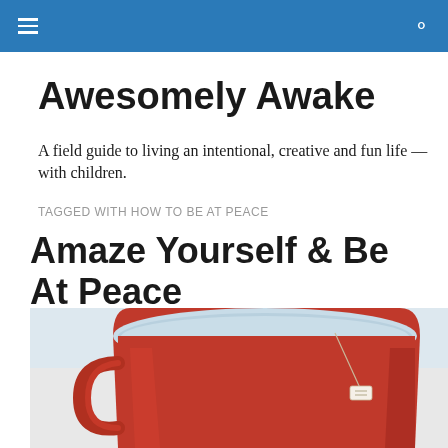Awesomely Awake
A field guide to living an intentional, creative and fun life — with children.
TAGGED WITH HOW TO BE AT PEACE
Amaze Yourself & Be At Peace
[Figure (photo): Close-up photo of a red tea cup with a tea bag, viewed from above, against a light background]